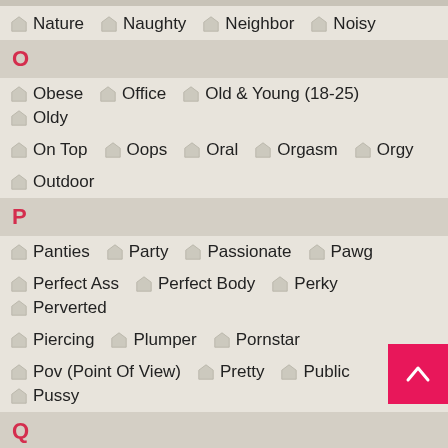Nature, Naughty, Neighbor, Noisy
O
Obese, Office, Old & Young (18-25), Oldy
On Top, Oops, Oral, Orgasm, Orgy
Outdoor
P
Panties, Party, Passionate, Pawg
Perfect Ass, Perfect Body, Perky, Perverted
Piercing, Plumper, Pornstar
Pov (Point Of View), Pretty, Public, Pussy
Q
Quickie
R
Real, Real Orgasm, Reality, Redhead